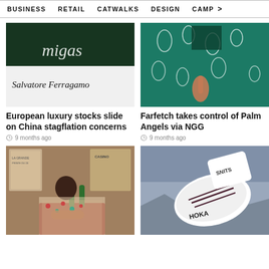BUSINESS  RETAIL  CATWALKS  DESIGN  CAMP >
[Figure (photo): Salvatore Ferragamo store sign/logo on white awning with green background]
European luxury stocks slide on China stagflation concerns
9 months ago
[Figure (photo): Person in teal/green patterned outfit with white paisley print, pointing downward]
Farfetch takes control of Palm Angels via NGG
9 months ago
[Figure (photo): Woman in floral dress seated at a cafe table with green bottles]
[Figure (photo): Close-up of white HOKA sneaker/boot with dark laces and SNITS sock]